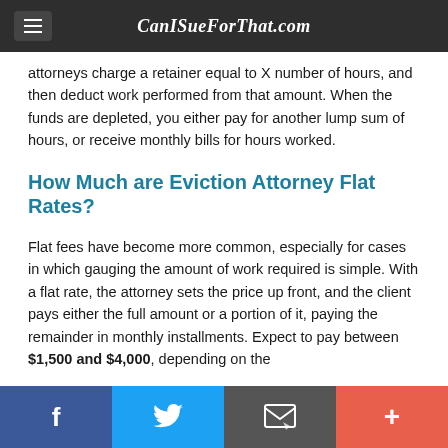CanISueForThat.com
attorneys charge a retainer equal to X number of hours, and then deduct work performed from that amount. When the funds are depleted, you either pay for another lump sum of hours, or receive monthly bills for hours worked.
How Much are Eviction Attorney Flat Rates?
Flat fees have become more common, especially for cases in which gauging the amount of work required is simple. With a flat rate, the attorney sets the price up front, and the client pays either the full amount or a portion of it, paying the remainder in monthly installments. Expect to pay between $1,500 and $4,000, depending on the
f  Twitter  Email  +